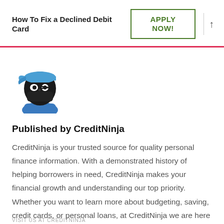How To Fix a Declined Debit Card
[Figure (logo): CreditNinja ninja mascot logo — cartoon ninja head with blue headband and black mask]
Published by CreditNinja
CreditNinja is your trusted source for quality personal finance information. With a demonstrated history of helping borrowers in need, CreditNinja makes your financial growth and understanding our top priority. Whether you want to learn more about budgeting, saving, credit cards, or personal loans, at CreditNinja we are here to help.
VISIT US: CREDITNINJA